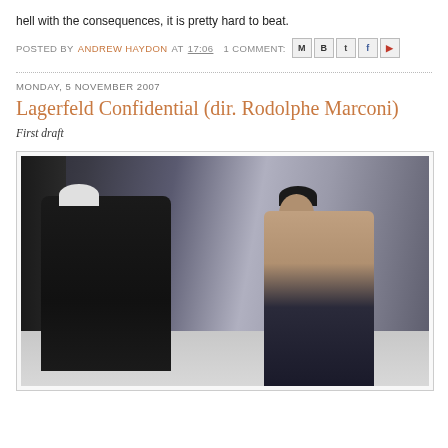hell with the consequences, it is pretty hard to beat.
POSTED BY ANDREW HAYDON AT 17:06  1 COMMENT:
MONDAY, 5 NOVEMBER 2007
Lagerfeld Confidential (dir. Rodolphe Marconi)
First draft
[Figure (photo): A photography session scene showing Karl Lagerfeld (left, wearing black suit with white hair) photographing a shirtless male model (right, wearing dark jeans, seated casually) against a white backdrop in a studio setting.]